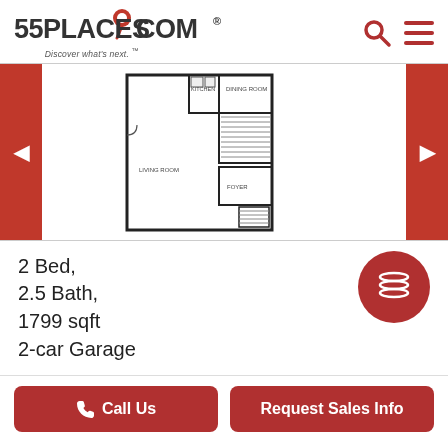[Figure (logo): 55places.com logo with red map pin, tagline: Discover what's next.]
[Figure (schematic): Floor plan of a 2 bed, 2.5 bath home showing dining room, kitchen, living room, foyer, stairs, and 2-car garage area]
2 Bed,
2.5 Bath,
1799 sqft
2-car Garage
[Figure (other): Red circle button with stacked layers icon]
Call Us
Request Sales Info